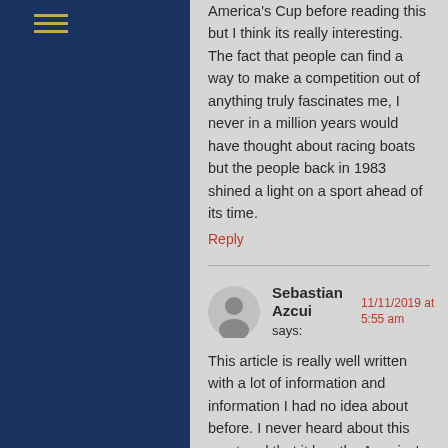[Figure (other): Hamburger menu icon (three horizontal lines) in gold/yellow on dark navy blue sidebar]
America's Cup before reading this but I think its really interesting. The fact that people can find a way to make a competition out of anything truly fascinates me, I never in a million years would have thought about racing boats but the people back in 1983 shined a light on a sport ahead of its time.
Reply
Sebastian Azcui says: 11/11/2019 at 5:55 am
This article is really well written with a lot of information and information I had no idea about before. I never heard about this sport and that it has the America's cup. I learned a lot about this sport and how this cup